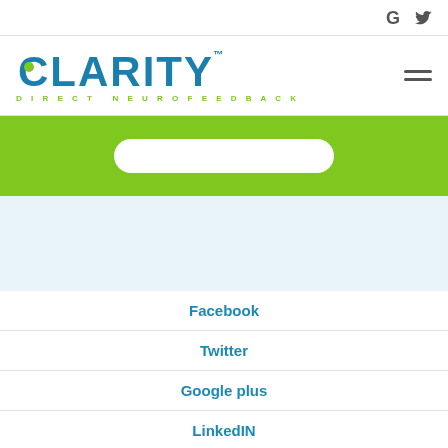G [Google icon] [Twitter icon]
[Figure (logo): Clarity Direct Neurofeedback logo with teal text and green dot on the C, with trademark symbol, and green tagline reading DIRECT NEUROFEEDBACK]
[Figure (other): Hamburger menu icon (three horizontal lines)]
[Figure (other): Green banner with white rounded search box in the center]
[Figure (other): Light blue background section]
Facebook
Twitter
Google plus
LinkedIN